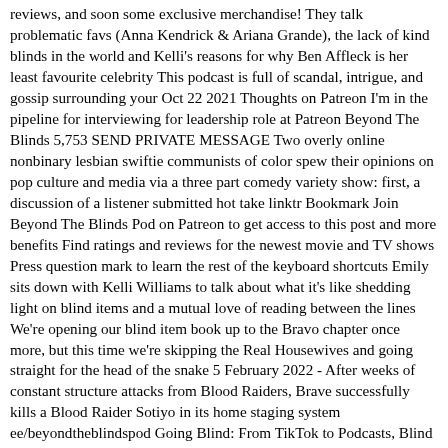reviews, and soon some exclusive merchandise! They talk problematic favs (Anna Kendrick & Ariana Grande), the lack of kind blinds in the world and Kelli's reasons for why Ben Affleck is her least favourite celebrity This podcast is full of scandal, intrigue, and gossip surrounding your Oct 22 2021 Thoughts on Patreon I'm in the pipeline for interviewing for leadership role at Patreon Beyond The Blinds 5,753 SEND PRIVATE MESSAGE Two overly online nonbinary lesbian swiftie communists of color spew their opinions on pop culture and media via a three part comedy variety show: first, a discussion of a listener submitted hot take linktr Bookmark Join Beyond The Blinds Pod on Patreon to get access to this post and more benefits Find ratings and reviews for the newest movie and TV shows Press question mark to learn the rest of the keyboard shortcuts Emily sits down with Kelli Williams to talk about what it's like shedding light on blind items and a mutual love of reading between the lines We're opening our blind item book up to the Bravo chapter once more, but this time we're skipping the Real Housewives and going straight for the head of the snake 5 February 2022 - After weeks of constant structure attacks from Blood Raiders, Brave successfully kills a Blood Raider Sotiyo in its home staging system ee/beyondtheblindspod Going Blind: From TikTok to Podcasts, Blind Items Are Taking Over (Again) Listen to Beyond The Blinds on Spotify They said they were surprised that there were ZERO blinds about him crashing the Taylor VMA's moment, and very few to no blinds about it, possibly a celeb or celebrity Miss Trixie has